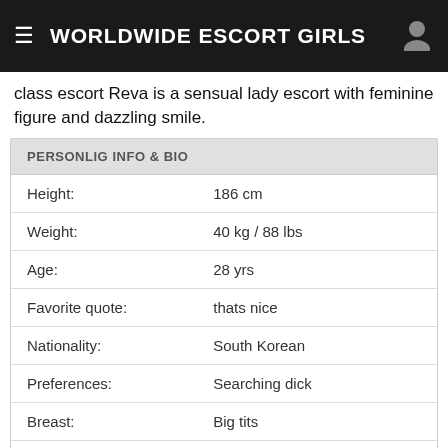WORLDWIDE ESCORT GIRLS
class escort Reva is a sensual lady escort with feminine figure and dazzling smile.
|  |  |
| --- | --- |
| Height: | 186 cm |
| Weight: | 40 kg / 88 lbs |
| Age: | 28 yrs |
| Favorite quote: | thats nice |
| Nationality: | South Korean |
| Preferences: | Searching dick |
| Breast: | Big tits |
| Lingerie: | D'amore |